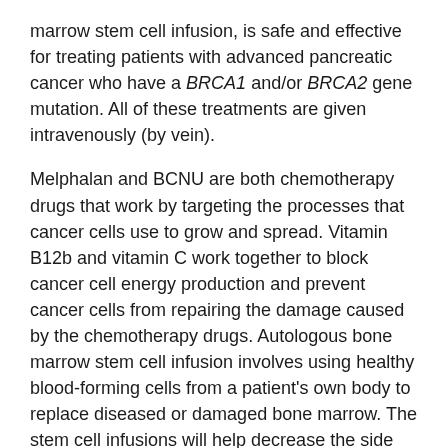marrow stem cell infusion, is safe and effective for treating patients with advanced pancreatic cancer who have a BRCA1 and/or BRCA2 gene mutation. All of these treatments are given intravenously (by vein).
Melphalan and BCNU are both chemotherapy drugs that work by targeting the processes that cancer cells use to grow and spread. Vitamin B12b and vitamin C work together to block cancer cell energy production and prevent cancer cells from repairing the damage caused by the chemotherapy drugs. Autologous bone marrow stem cell infusion involves using healthy blood-forming cells from a patient's own body to replace diseased or damaged bone marrow. The stem cell infusions will help decrease the side effects of the study treatment.